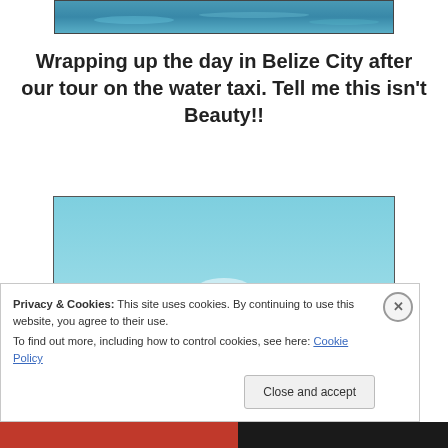[Figure (photo): Partial view of water/ocean scene at top of page]
Wrapping up the day in Belize City after our tour on the water taxi. Tell me this isn't Beauty!!
[Figure (photo): Sky with white clouds, teal/turquoise color, aerial view]
Privacy & Cookies: This site uses cookies. By continuing to use this website, you agree to their use.
To find out more, including how to control cookies, see here: Cookie Policy
Close and accept